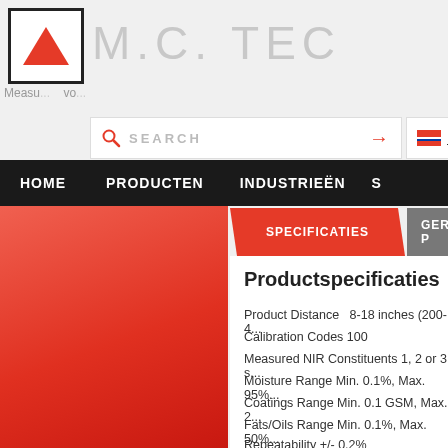[Figure (logo): M.C. TEC logo with red triangle in a square border]
M.C. TEC
Measu... vo...
SEARCH →
Nederlands ▼
HOME   PRODUCTEN   INDUSTRIEËN   S
SPECIFICATIES   GERELATEERDE P
Productspecificaties
Product Distance  8-18 inches (200-4...
Calibration Codes 100
Measured NIR Constituents 1, 2 or 3 s...
Moisture Range Min. 0.1%, Max. 95%...
Coatings Range Min. 0.1 GSM, Max. 2...
Fats/Oils Range Min. 0.1%, Max. 50%...
Repeatability +/- 0.2%